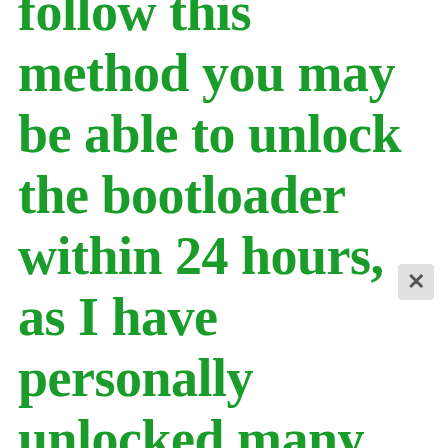follow this method you may be able to unlock the bootloader within 24 hours, as I have personally unlocked many Xiaomi device on the day, I got it using this method.